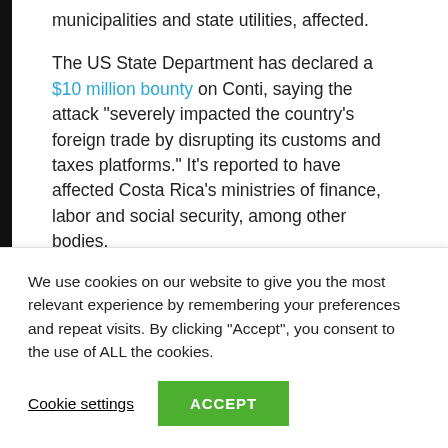municipalities and state utilities, affected.
The US State Department has declared a $10 million bounty on Conti, saying the attack "severely impacted the country's foreign trade by disrupting its customs and taxes platforms." It's reported to have affected Costa Rica's ministries of finance, labor and social security, among other bodies.
Continues also in the more recently after...
We use cookies on our website to give you the most relevant experience by remembering your preferences and repeat visits. By clicking "Accept", you consent to the use of ALL the cookies.
Cookie settings
ACCEPT